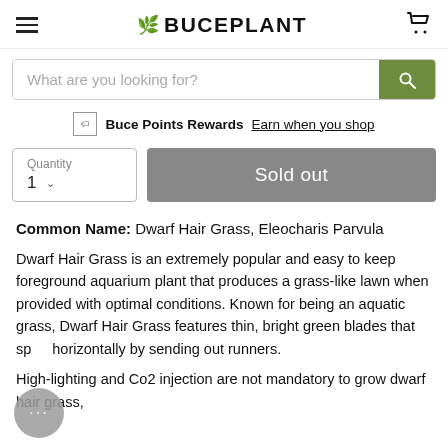BUCEPLANT
What are you looking for?
Buce Points Rewards Earn when you shop
Quantity 1 | Sold out
Common Name: Dwarf Hair Grass, Eleocharis Parvula
Dwarf Hair Grass is an extremely popular and easy to keep foreground aquarium plant that produces a grass-like lawn when provided with optimal conditions. Known for being an aquatic grass, Dwarf Hair Grass features thin, bright green blades that spread horizontally by sending out runners.
High-lighting and Co2 injection are not mandatory to grow dwarf hair grass, but giving this plant ideal conditions helps to...